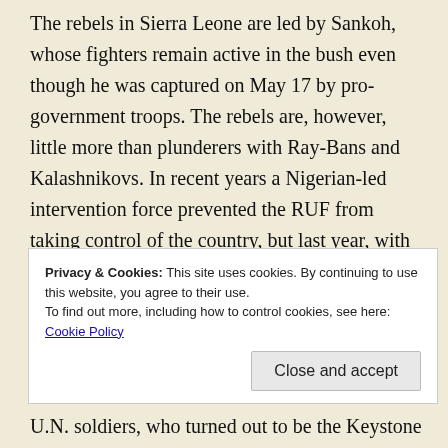The rebels in Sierra Leone are led by Sankoh, whose fighters remain active in the bush even though he was captured on May 17 by pro-government troops. The rebels are, however, little more than plunderers with Ray-Bans and Kalashnikovs. In recent years a Nigerian-led intervention force prevented the RUF from taking control of the country, but last year, with the Nigerians wearying of the expense and bloodshed,
Privacy & Cookies: This site uses cookies. By continuing to use this website, you agree to their use.
To find out more, including how to control cookies, see here: Cookie Policy
U.N. soldiers, who turned out to be the Keystone